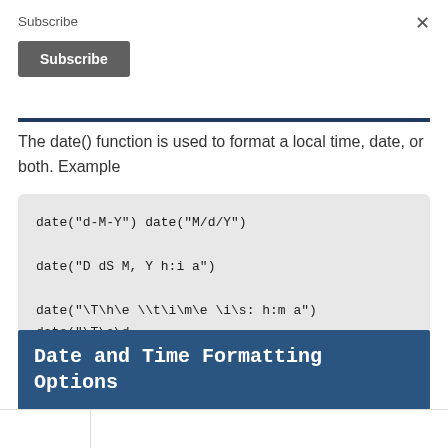Subscribe
Subscribe
The date() function is used to format a local time, date, or both. Example
date("d-M-Y") date("M/d/Y")
date("D dS M, Y h:i a")
date("\T\h\e \\t\i\m\e \i\s: h:m a") date("\T\o\d\a\y \i\s: l")
Date and Time Formatting Options